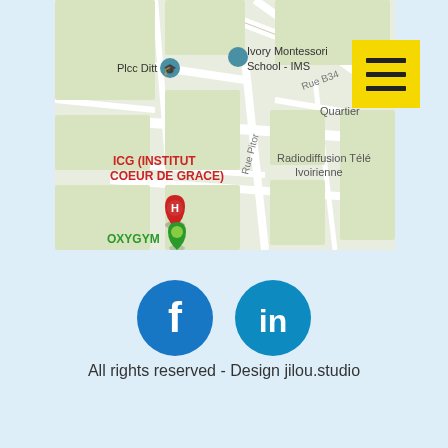[Figure (map): Google Maps screenshot showing ICG (Institut Coeur de Grace) location with nearby landmarks: Ivory Montessori School - IMS, Plcc Ditt, OXYGYM, Radiodiffusion Télé Ivoirienne, Quartier, Rue B34, Rue Pitor]
[Figure (other): Yellow hamburger menu button (three horizontal black lines on yellow background) in top right corner]
[Figure (other): Facebook and LinkedIn social media icons (blue circles with white f and in logos)]
All rights reserved - Design jilou.studio